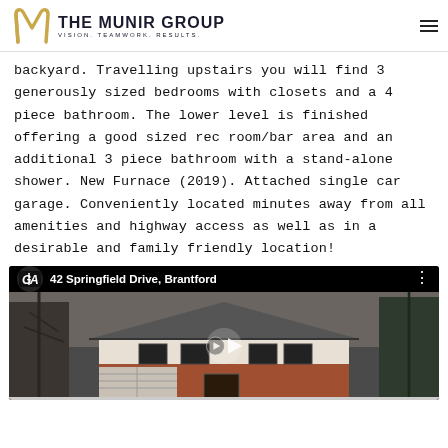THE MUNIR GROUP — VISION. TEAMWORK. RESULTS.
backyard. Travelling upstairs you will find 3 generously sized bedrooms with closets and a 4 piece bathroom. The lower level is finished offering a good sized rec room/bar area and an additional 3 piece bathroom with a stand-alone shower. New Furnace (2019). Attached single car garage. Conveniently located minutes away from all amenities and highway access as well as in a desirable and family friendly location!
[Figure (screenshot): YouTube video thumbnail for '42 Springfield Drive, Brantford' showing a two-storey brick and siding house in winter with bare trees, displayed with GZA logo badge and a play button overlay.]